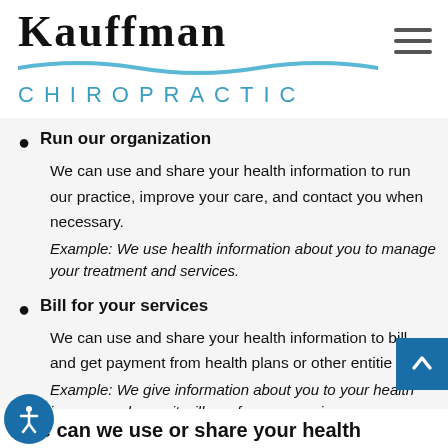[Figure (logo): Kauffman Chiropractic logo with blue wave accent and teal 'CHIROPRACTIC' text]
Run our organization
We can use and share your health information to run our practice, improve your care, and contact you when necessary.
Example: We use health information about you to manage your treatment and services.
Bill for your services
We can use and share your health information to bill and get payment from health plans or other entities.
Example: We give information about you to your health insurance plan so it will pay for your services.
else can we use or share your health